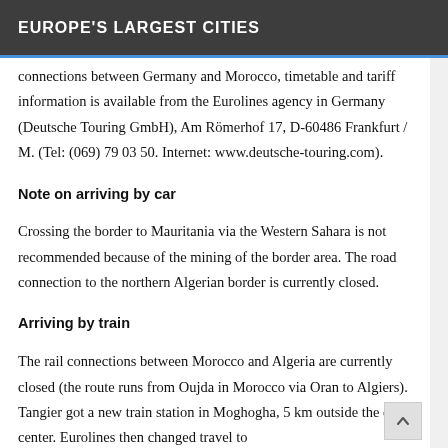EUROPE'S LARGEST CITIES
connections between Germany and Morocco, timetable and tariff information is available from the Eurolines agency in Germany (Deutsche Touring GmbH), Am Römerhof 17, D-60486 Frankfurt / M. (Tel: (069) 79 03 50. Internet: www.deutsche-touring.com).
Note on arriving by car
Crossing the border to Mauritania via the Western Sahara is not recommended because of the mining of the border area. The road connection to the northern Algerian border is currently closed.
Arriving by train
The rail connections between Morocco and Algeria are currently closed (the route runs from Oujda in Morocco via Oran to Algiers). Tangier got a new train station in Moghogha, 5 km outside the city center. Eurolines then changed travel to